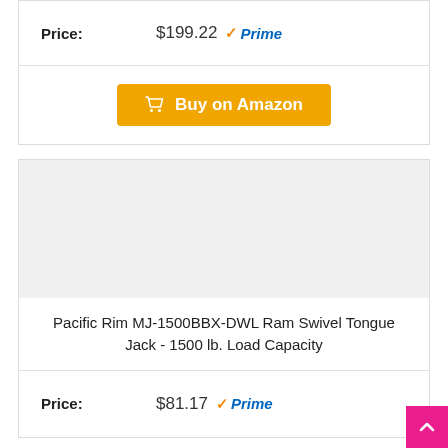Price: $199.22 Prime
Buy on Amazon
[Figure (other): Product image placeholder area (gray background, no image shown)]
Pacific Rim MJ-1500BBX-DWL Ram Swivel Tongue Jack - 1500 lb. Load Capacity
Price: $81.17 Prime